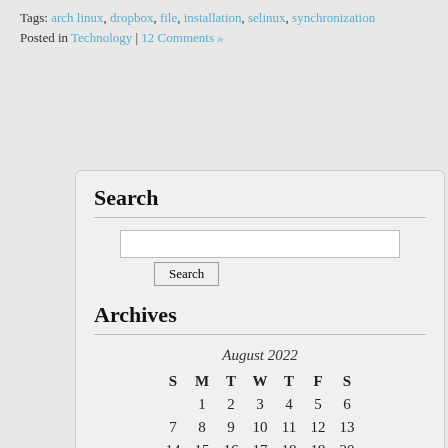Tags: arch linux, dropbox, file, installation, selinux, synchronization
Posted in Technology | 12 Comments »
Search
Archives
| S | M | T | W | T | F | S |
| --- | --- | --- | --- | --- | --- | --- |
|  | 1 | 2 | 3 | 4 | 5 | 6 |
| 7 | 8 | 9 | 10 | 11 | 12 | 13 |
| 14 | 15 | 16 | 17 | 18 | 19 | 20 |